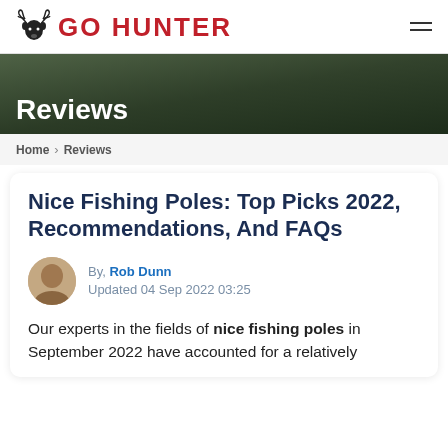GO HUNTER
[Figure (photo): Dark outdoor/nature hero banner image with green foliage and water elements]
Reviews
Home > Reviews
Nice Fishing Poles: Top Picks 2022, Recommendations, And FAQs
By, Rob Dunn
Updated 04 Sep 2022 03:25
Our experts in the fields of nice fishing poles in September 2022 have accounted for a relatively